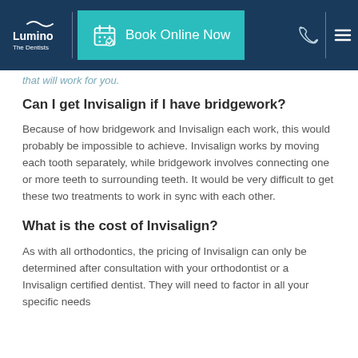Lumino The Dentists | Book Online Now
...that will work for you.
Can I get Invisalign if I have bridgework?
Because of how bridgework and Invisalign each work, this would probably be impossible to achieve. Invisalign works by moving each tooth separately, while bridgework involves connecting one or more teeth to surrounding teeth. It would be very difficult to get these two treatments to work in sync with each other.
What is the cost of Invisalign?
As with all orthodontics, the pricing of Invisalign can only be determined after consultation with your orthodontist or a Invisalign certified dentist. They will need to factor in all your specific needs